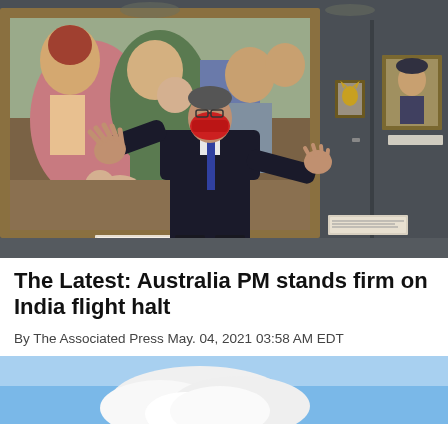[Figure (photo): A man in a dark suit wearing a red face mask stands in front of a large Renaissance painting in a museum gallery. He has his arms outstretched in a welcoming gesture. The painting behind him depicts a Madonna and child with other figures. The gallery walls are dark gray with other framed paintings visible in the background.]
The Latest: Australia PM stands firm on India flight halt
By The Associated Press May. 04, 2021 03:58 AM EDT
[Figure (photo): Partial view of a sky with clouds, blue sky visible. Bottom portion of a second news photo cropped at page edge.]